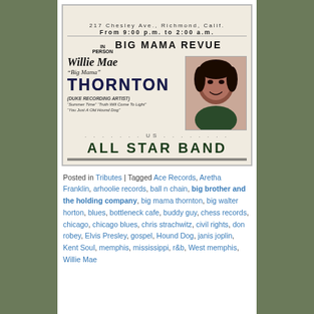[Figure (illustration): Vintage concert flyer for Big Mama Revue featuring Willie Mae 'Big Mama' Thornton at City Club, 217 Chesley Ave., Richmond, Calif., from 9:00 p.m. to 2:00 a.m. Includes photo of Big Mama Thornton and text listing Duke Recording Artist credits and All Star Band.]
Posted in Tributes | Tagged Ace Records, Aretha Franklin, arhoolie records, ball n chain, big brother and the holding company, big mama thornton, big walter horton, blues, bottleneck cafe, buddy guy, chess records, chicago, chicago blues, chris strachwitz, civil rights, don robey, Elvis Presley, gospel, Hound Dog, janis joplin, Kent Soul, memphis, mississippi, r&b, West memphis, Willie Mae